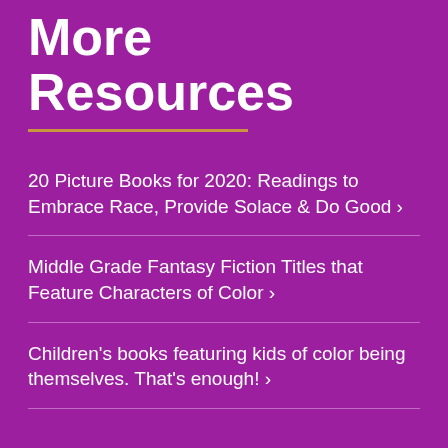More Resources
20 Picture Books for 2020: Readings to Embrace Race, Provide Solace & Do Good ›
Middle Grade Fantasy Fiction Titles that Feature Characters of Color ›
Children's books featuring kids of color being themselves. That's enough! ›